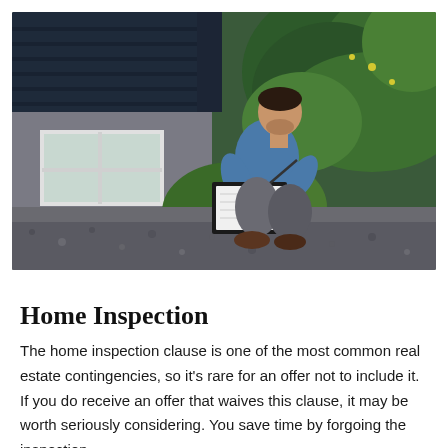[Figure (photo): A man in a blue t-shirt and grey pants crouching beside a house exterior, writing notes on a clipboard. He is near a window at the base of a building with grey siding and dark trim, surrounded by green shrubs and gravel.]
Home Inspection
The home inspection clause is one of the most common real estate contingencies, so it's rare for an offer not to include it. If you do receive an offer that waives this clause, it may be worth seriously considering. You save time by forgoing the inspection,